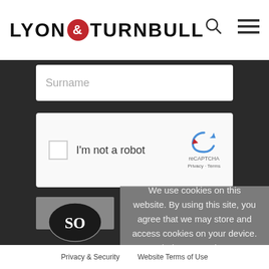[Figure (logo): Lyon & Turnbull logo with ampersand in red circle]
[Figure (screenshot): Search icon (magnifying glass)]
[Figure (screenshot): Hamburger menu icon (three horizontal lines)]
Surname
[Figure (screenshot): reCAPTCHA widget with checkbox, 'I'm not a robot' text, reCAPTCHA logo, Privacy and Terms links]
Submit
We use cookies on this website. By using this site, you agree that we may store and access cookies on your device. Find out more here
OK
[Figure (logo): Oval dark logo with letters SO visible]
Privacy & Security   Website Terms of Use